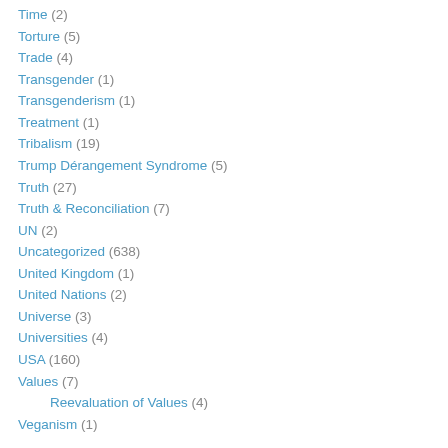Time (2)
Torture (5)
Trade (4)
Transgender (1)
Transgenderism (1)
Treatment (1)
Tribalism (19)
Trump Dérangement Syndrome (5)
Truth (27)
Truth & Reconciliation (7)
UN (2)
Uncategorized (638)
United Kingdom (1)
United Nations (2)
Universe (3)
Universities (4)
USA (160)
Values (7)
Reevaluation of Values (4)
Veganism (1)